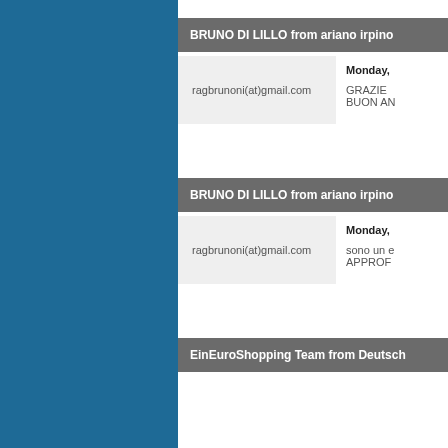BRUNO DI LILLO from ariano irpino
ragbrunoni(at)gmail.com
Monday,
GRAZIE BUON AN
BRUNO DI LILLO from ariano irpino
ragbrunoni(at)gmail.com
Monday,
sono un e APPROF
EinEuroShopping Team from Deutsch